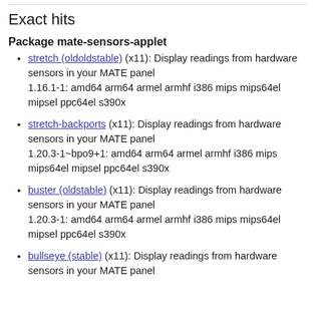Exact hits
Package mate-sensors-applet
stretch (oldoldstable) (x11): Display readings from hardware sensors in your MATE panel 1.16.1-1: amd64 arm64 armel armhf i386 mips mips64el mipsel ppc64el s390x
stretch-backports (x11): Display readings from hardware sensors in your MATE panel 1.20.3-1~bpo9+1: amd64 arm64 armel armhf i386 mips mips64el mipsel ppc64el s390x
buster (oldstable) (x11): Display readings from hardware sensors in your MATE panel 1.20.3-1: amd64 arm64 armel armhf i386 mips mips64el mipsel ppc64el s390x
bullseye (stable) (x11): Display readings from hardware sensors in your MATE panel